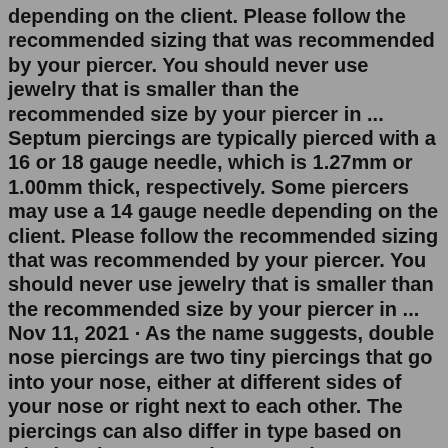depending on the client. Please follow the recommended sizing that was recommended by your piercer. You should never use jewelry that is smaller than the recommended size by your piercer in ... Septum piercings are typically pierced with a 16 or 18 gauge needle, which is 1.27mm or 1.00mm thick, respectively. Some piercers may use a 14 gauge needle depending on the client. Please follow the recommended sizing that was recommended by your piercer. You should never use jewelry that is smaller than the recommended size by your piercer in ... Nov 11, 2021 · As the name suggests, double nose piercings are two tiny piercings that go into your nose, either at different sides of your nose or right next to each other. The piercings can also differ in type based on whether they are on the nares, the septum, or the soft flesh at the bottom of the septum. The cost of a piercing like this varies. Septum piercing is quite popular among today's generation as new fashion trends. A Single septum piercing is very common. Double septum piercing is rare. For... A nose piercing on both sides